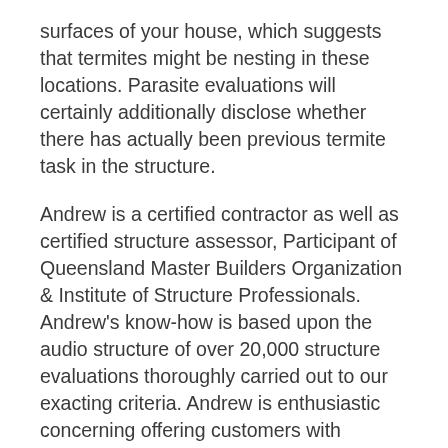surfaces of your house, which suggests that termites might be nesting in these locations. Parasite evaluations will certainly additionally disclose whether there has actually been previous termite task in the structure.
Andrew is a certified contractor as well as certified structure assessor, Participant of Queensland Master Builders Organization & Institute of Structure Professionals. Andrew's know-how is based upon the audio structure of over 20,000 structure evaluations thoroughly carried out to our exacting criteria. Andrew is enthusiastic concerning offering customers with outstanding customer support, worth for cash, straightforward, impartial, comprehensive evaluation and also coverage in a prompt as well as expert fashion to permit Activity Residential property Assessment customers to make educated choices when acquiring residential or commercial property.
We pay technicians to check out the withins of our